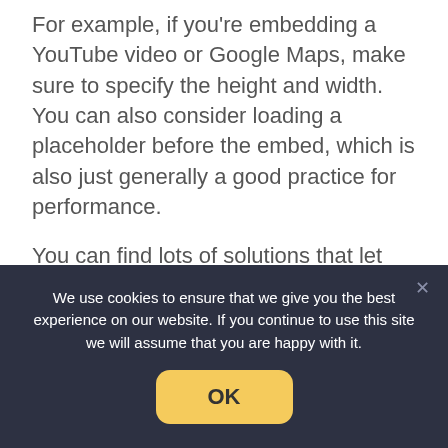For example, if you're embedding a YouTube video or Google Maps, make sure to specify the height and width. You can also consider loading a placeholder before the embed, which is also just generally a good practice for performance.
You can find lots of solutions that let you replace the YouTube embed with a placeholder image (until a user clicks to play the video). Some good options are WP Rocket (our review) or the free Lazy Load
We use cookies to ensure that we give you the best experience on our website. If you continue to use this site we will assume that you are happy with it.
OK